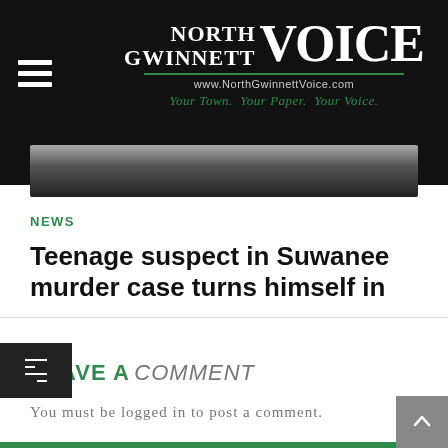[Figure (logo): North Gwinnett Voice newspaper logo with hamburger menu icon on dark background. Logo text reads NORTH GWINNETT VOICE with URL www.NorthGwinnettVoice.com and tagline Your Town. Your Paper. Your Voice.]
[Figure (photo): Grayscale photo strip, appears to be a dark abstract or landscape image.]
NEWS
Teenage suspect in Suwanee murder case turns himself in
LEAVE A COMMENT
You must be logged in to post a comment.